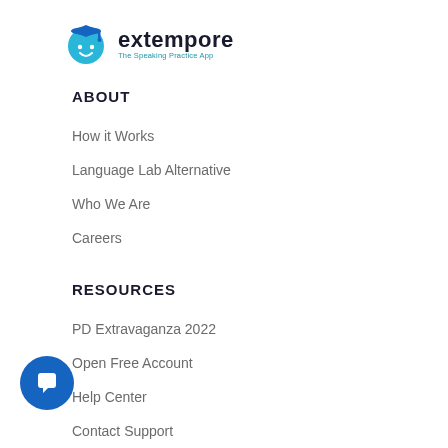[Figure (logo): Extempore logo: blue graduation cap with smiling face icon, text 'extempore' with tagline 'The Speaking Practice App']
ABOUT
How it Works
Language Lab Alternative
Who We Are
Careers
RESOURCES
PD Extravaganza 2022
Open Free Account
Help Center
Contact Support
DEPARTMENTS & SCHOOLS
[Figure (illustration): Blue circular chat/support button in bottom left corner with white speech bubble icon]